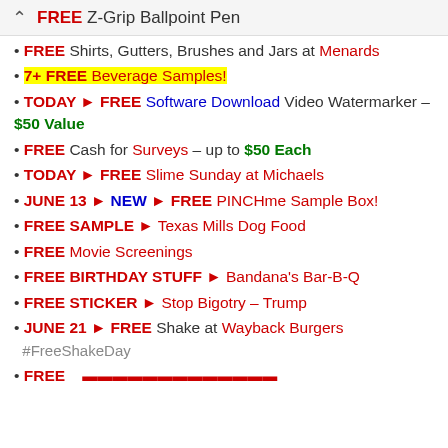FREE Z-Grip Ballpoint Pen
FREE Shirts, Gutters, Brushes and Jars at Menards
7+ FREE Beverage Samples!
TODAY ► FREE Software Download Video Watermarker – $50 Value
FREE Cash for Surveys – up to $50 Each
TODAY ► FREE Slime Sunday at Michaels
JUNE 13 ► NEW ► FREE PINCHme Sample Box!
FREE SAMPLE ► Texas Mills Dog Food
FREE Movie Screenings
FREE BIRTHDAY STUFF ► Bandana's Bar-B-Q
FREE STICKER ► Stop Bigotry – Trump
JUNE 21 ► FREE Shake at Wayback Burgers #FreeShakeDay
FREE (partial, cut off)